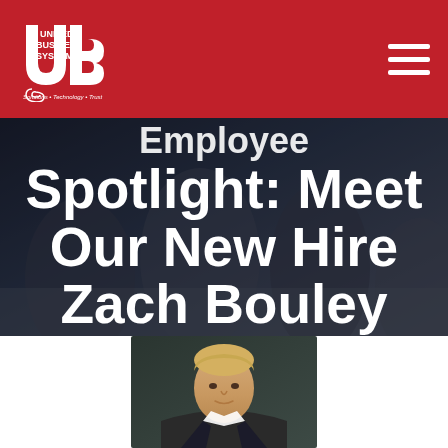United Business Systems — Navigation Bar
Employee Spotlight: Meet Our New Hire Zach Bouley
[Figure (photo): Portrait photo of Zach Bouley, new hire, shown from shoulders up against a dark background]